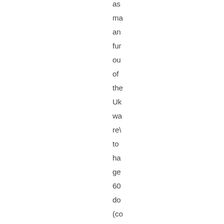as
ma
an
fur
ou
of
the
Uk
wa
re
to
ha
ge
60
do
(co
so
th